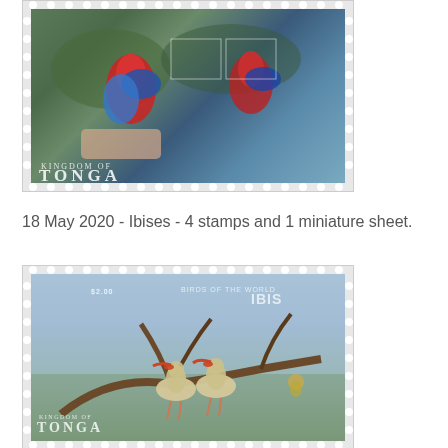[Figure (photo): Stamp miniature sheet from Kingdom of Tonga featuring birds (parrots/macaws), showing colorful birds with text 'KINGDOM OF TONGA']
18 May 2020 - Ibises - 4 stamps and 1 miniature sheet.
[Figure (photo): Stamp from Kingdom of Tonga featuring Ibises (Birds of the World - Ibis series), showing two white ibises perched on a branch, with 'KINGDOM OF TONGA' text and 'BIRDS OF THE WORLD IBIS' text overlay]